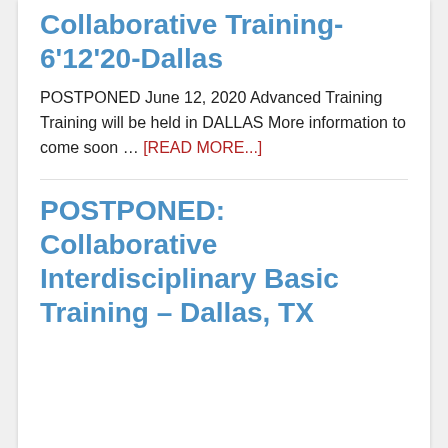Interdisciplinary, Collaborative Training-6'12'20-Dallas
POSTPONED June 12, 2020 Advanced Training Training will be held in DALLAS More information to come soon … [READ MORE...]
POSTPONED: Collaborative Interdisciplinary Basic Training – Dallas, TX